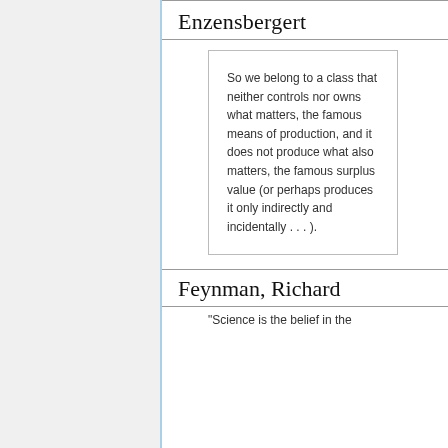Enzensbergert
So we belong to a class that neither controls nor owns what matters, the famous means of production, and it does not produce what also matters, the famous surplus value (or perhaps produces it only indirectly and incidentally . . . ).
Feynman, Richard
"Science is the belief in the